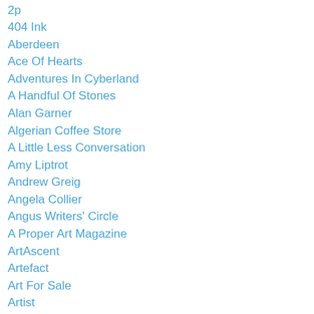2p
404 Ink
Aberdeen
Ace Of Hearts
Adventures In Cyberland
A Handful Of Stones
Alan Garner
Algerian Coffee Store
A Little Less Conversation
Amy Liptrot
Andrew Greig
Angela Collier
Angus Writers' Circle
A Proper Art Magazine
ArtAscent
Artefact
Art For Sale
Artist
Artist Trade
At The Sign Of The Black Faced Sheep
Autumn